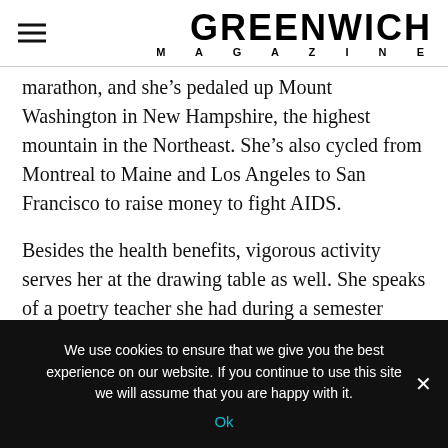GREENWICH MAGAZINE
marathon, and she’s pedaled up Mount Washington in New Hampshire, the highest mountain in the Northeast. She’s also cycled from Montreal to Maine and Los Angeles to San Francisco to raise money to fight AIDS.
Besides the health benefits, vigorous activity serves her at the drawing table as well. She speaks of a poetry teacher she had during a semester abroad in college, when she studied at the Lacoste School
We use cookies to ensure that we give you the best experience on our website. If you continue to use this site we will assume that you are happy with it.
Ok